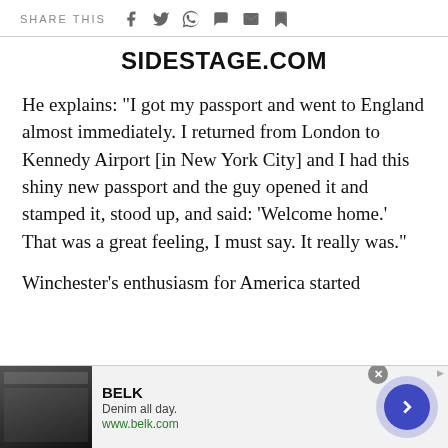SHARE THIS
SIDESTAGE.COM
He explains: "I got my passport and went to England almost immediately. I returned from London to Kennedy Airport [in New York City] and I had this shiny new passport and the guy opened it and stamped it, stood up, and said: 'Welcome home.' That was a great feeling, I must say. It really was."
Winchester's enthusiasm for America started
[Figure (screenshot): Advertisement banner for BELK - Denim all day. www.belk.com with a close button and navigation arrow.]